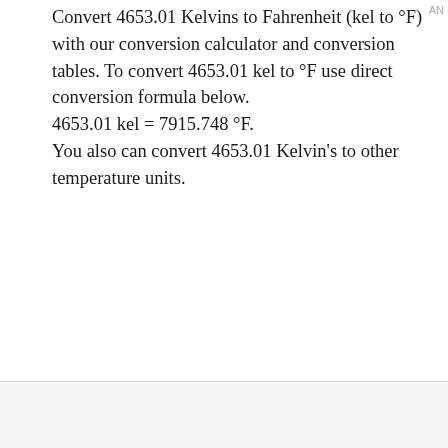Convert 4653.01 Kelvins to Fahrenheit (kel to °F) with our conversion calculator and conversion tables. To convert 4653.01 kel to °F use direct conversion formula below.
4653.01 kel = 7915.748 °F.
You also can convert 4653.01 Kelvin's to other temperature units.